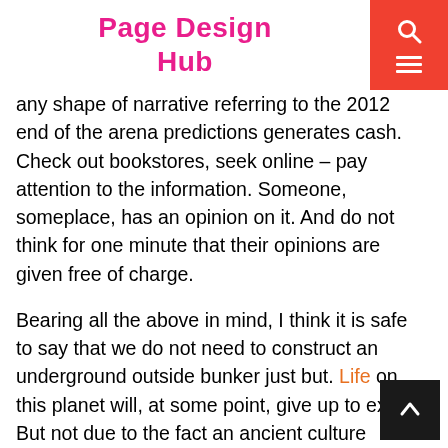Page Design Hub
any shape of narrative referring to the 2012 end of the arena predictions generates cash. Check out bookstores, seek online – pay attention to the information. Someone, someplace, has an opinion on it. And do not think for one minute that their opinions are given free of charge.
Bearing all the above in mind, I think it is safe to say that we do not need to construct an underground outside bunker just but. Life on this planet will, at some point, give up to exist. But not due to the fact an ancient culture allegedly said so. As some distance as I'm worried, I'm erring at the aspect of veracity. Plus, I instead like living on the 0.33 rock from the sun. I continue to be hopeful that it's going to be here nevertheless come 2013.